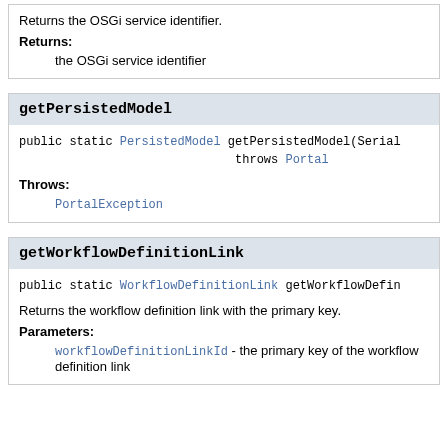Returns the OSGi service identifier.
Returns:
the OSGi service identifier
getPersistedModel
public static PersistedModel getPersistedModel(Serial
                              throws Portal
Throws:
PortalException
getWorkflowDefinitionLink
public static WorkflowDefinitionLink getWorkflowDefin
Returns the workflow definition link with the primary key.
Parameters:
workflowDefinitionLinkId - the primary key of the workflow definition link